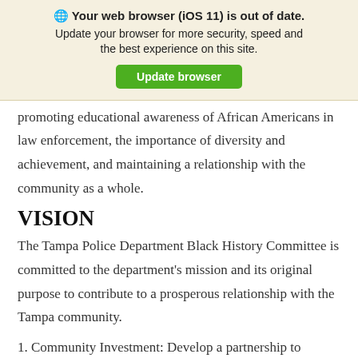[Figure (infographic): Browser update banner with globe icon, bold warning title 'Your web browser (iOS 11) is out of date.', subtitle text, and green Update browser button]
promoting educational awareness of African Americans in law enforcement, the importance of diversity and achievement, and maintaining a relationship with the community as a whole.
VISION
The Tampa Police Department Black History Committee is committed to the department's mission and its original purpose to contribute to a prosperous relationship with the Tampa community.
1. Community Investment: Develop a partnership to promote diversity through fellowship, while